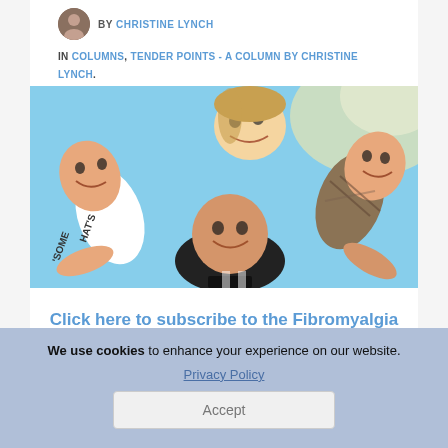BY CHRISTINE LYNCH
IN COLUMNS, TENDER POINTS - A COLUMN BY CHRISTINE LYNCH.
[Figure (photo): Four laughing young people lying on ground in a circle, looking up at camera with blue sky behind them.]
Click here to subscribe to the Fibromyalgia News Today Newsletter!
We use cookies to enhance your experience on our website.
Privacy Policy
Accept